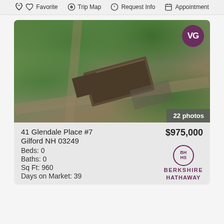Favorite   Trip Map   Request Info   Appointment
[Figure (photo): Aerial drone photograph of a commercial property at 41 Glendale Place #7, Gilford NH, showing buildings with dark roofs surrounded by trees, parking lot, and roads. VG logo circle in upper right. '22 photos' badge in lower right.]
41 Glendale Place #7
Gilford NH 03249
Beds: 0
Baths: 0
Sq Ft: 960
Days on Market: 39
$975,000
[Figure (logo): Berkshire Hathaway logo circle with BH HS initials and text BERKSHIRE HATHAWAY below]